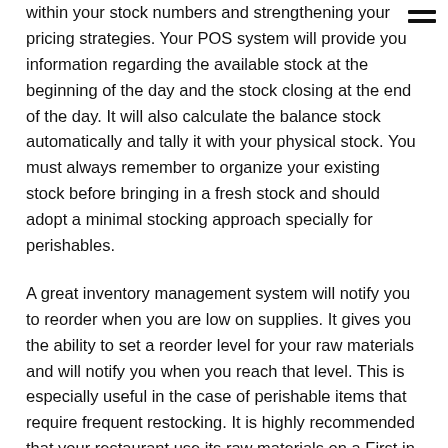within your stock numbers and strengthening your pricing strategies. Your POS system will provide you information regarding the available stock at the beginning of the day and the stock closing at the end of the day. It will also calculate the balance stock automatically and tally it with your physical stock. You must always remember to organize your existing stock before bringing in a fresh stock and should adopt a minimal stocking approach specially for perishables.
A great inventory management system will notify you to reorder when you are low on supplies. It gives you the ability to set a reorder level for your raw materials and will notify you when you reach that level. This is especially useful in the case of perishable items that require frequent restocking. It is highly recommended that your restaurant use its raw materials on a First in First out (FIFO) basis. This means using the older stock